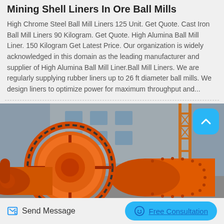Mining Shell Liners In Ore Ball Mills
High Chrome Steel Ball Mill Liners 125 Unit. Get Quote. Cast Iron Ball Mill Liners 90 Kilogram. Get Quote. High Alumina Ball Mill Liner. 150 Kilogram Get Latest Price. Our organization is widely acknowledged in this domain as the leading manufacturer and supplier of High Alumina Ball Mill Liner.Ball Mill Liners. We are regularly supplying rubber liners up to 26 ft diameter ball mills. We design liners to optimize power for maximum throughput and...
[Figure (photo): Large orange industrial ore ball mill machinery with visible gear rings and cylindrical drum, photographed outdoors at an industrial facility]
Send Message
Free Consultation